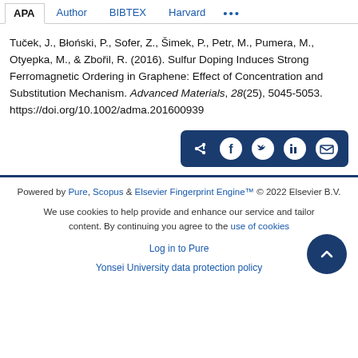APA | Author | BIBTEX | Harvard | ...
Tuček, J., Błoński, P., Sofer, Z., Šimek, P., Petr, M., Pumera, M., Otyepka, M., & Zbořil, R. (2016). Sulfur Doping Induces Strong Ferromagnetic Ordering in Graphene: Effect of Concentration and Substitution Mechanism. Advanced Materials, 28(25), 5045-5053. https://doi.org/10.1002/adma.201600939
[Figure (infographic): Share button group with icons for share, Facebook, Twitter, LinkedIn, and email on a dark navy background]
Powered by Pure, Scopus & Elsevier Fingerprint Engine™ © 2022 Elsevier B.V.
We use cookies to help provide and enhance our service and tailor content. By continuing you agree to the use of cookies
Log in to Pure
Yonsei University data protection policy